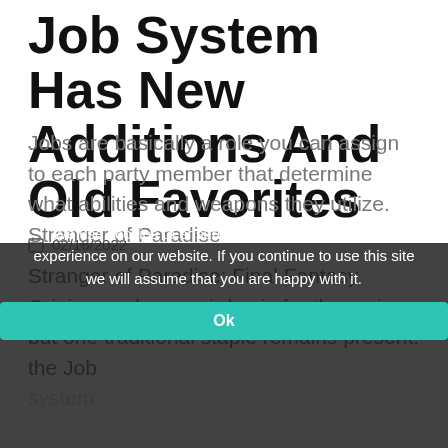Fantasy Origin's Job System Has New Additions And Old Favorites
02/16/2022
Stranger of Paradise: Final Fantasy Origin may be a weird spin for the series, but one traditional staple remains present: the Job system.
Jobs are basically a role you can assign to each party member that determine what abilities and weapons they utilize. Stranger of Paradise
We use cookies to ensure that we give you the best experience on our website. If you continue to use this site we will assume that you are happy with it.